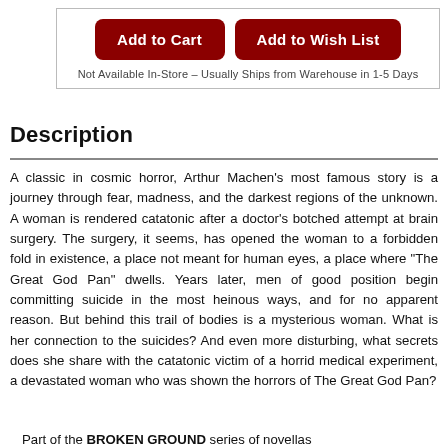[Figure (screenshot): Two dark red rounded buttons: 'Add to Cart' and 'Add to Wish List', with availability note below, enclosed in a bordered box.]
Not Available In-Store - Usually Ships from Warehouse in 1-5 Days
Description
A classic in cosmic horror, Arthur Machen's most famous story is a journey through fear, madness, and the darkest regions of the unknown. A woman is rendered catatonic after a doctor's botched attempt at brain surgery. The surgery, it seems, has opened the woman to a forbidden fold in existence, a place not meant for human eyes, a place where "The Great God Pan" dwells. Years later, men of good position begin committing suicide in the most heinous ways, and for no apparent reason. But behind this trail of bodies is a mysterious woman. What is her connection to the suicides? And even more disturbing, what secrets does she share with the catatonic victim of a horrid medical experiment, a devastated woman who was shown the horrors of The Great God Pan?
Part of the BROKEN GROUND series of novellas